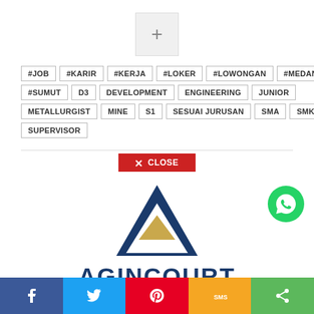[Figure (other): Plus button icon in a light gray square box]
#JOB #KARIR #KERJA #LOKER #LOWONGAN #MEDAN #SUMUT D3 DEVELOPMENT ENGINEERING JUNIOR METALLURGIST MINE S1 SESUAI JURUSAN SMA SMK SUPERVISOR
[Figure (other): Red CLOSE button with X icon]
[Figure (logo): Agincourt Resources logo - dark blue triangle with gold chevron, text AGINCOURT below]
[Figure (other): WhatsApp floating button - green circle with phone icon]
[Figure (other): Social sharing bar at bottom: Facebook (blue), Twitter (light blue), Pinterest (red), SMS (orange/yellow), Share (green)]